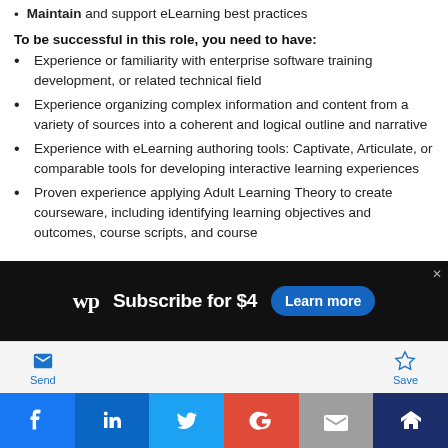Maintain and support eLearning best practices
To be successful in this role, you need to have:
Experience or familiarity with enterprise software training development, or related technical field
Experience organizing complex information and content from a variety of sources into a coherent and logical outline and narrative
Experience with eLearning authoring tools: Captivate, Articulate, or comparable tools for developing interactive learning experiences
Proven experience applying Adult Learning Theory to create courseware, including identifying learning objectives and outcomes, course scripts, and course
[Figure (screenshot): Advertisement banner for Washington Post: Subscribe for $4 with Learn more button]
Send | Save